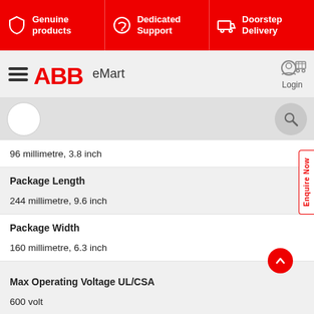[Figure (screenshot): ABB eMart website header with red top banner showing Genuine products, Dedicated Support, Doorstep Delivery icons and text]
ABB eMart - Login
96 millimetre, 3.8 inch
Package Length
244 millimetre, 9.6 inch
Package Width
160 millimetre, 6.3 inch
Max Operating Voltage UL/CSA
600 volt